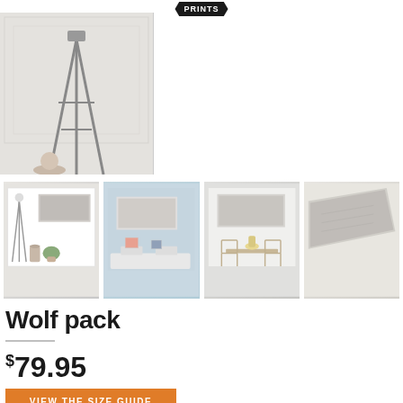PRINTS
[Figure (photo): Hero lifestyle image showing a tripod floor lamp on left and a plush beige sofa with white orchid plant on right]
[Figure (photo): Four thumbnail images showing wolf pack artwork displayed in different room settings]
Wolf pack
$79.95
VIEW THE SIZE GUIDE
Epic wolf pack on rocky terrain